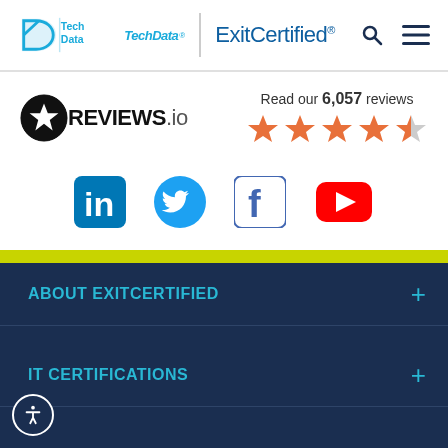[Figure (logo): TechData and ExitCertified logos in header with search and menu icons]
[Figure (logo): REVIEWS.io logo with star rating showing Read our 6,057 reviews with 4.5 stars]
[Figure (logo): Social media icons: LinkedIn, Twitter, Facebook, YouTube]
ABOUT EXITCERTIFIED
IT CERTIFICATIONS
IT TRAINING SOLUTIONS